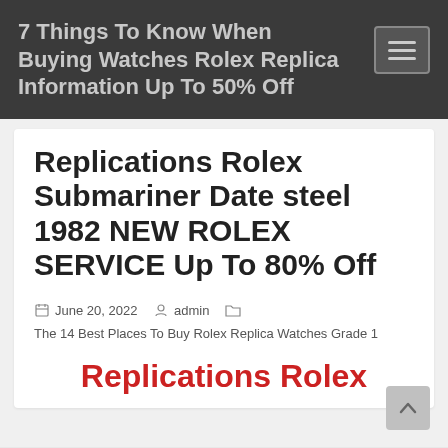7 Things To Know When Buying Watches Rolex Replica Information Up To 50% Off
Replications Rolex Submariner Date steel 1982 NEW ROLEX SERVICE Up To 80% Off
June 20, 2022  admin  The 14 Best Places To Buy Rolex Replica Watches Grade 1
Replications Rolex